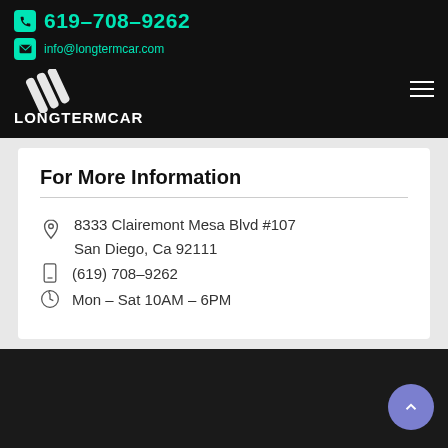619-708-9262 | info@longtermcar.com | LONGTERMCAR
[Figure (logo): LongTermCar logo with diagonal stripe icon and text LONGTERMCAR]
For More Information
8333 Clairemont Mesa Blvd #107 San Diego, Ca 92111
(619) 708-9262
Mon – Sat 10AM – 6PM